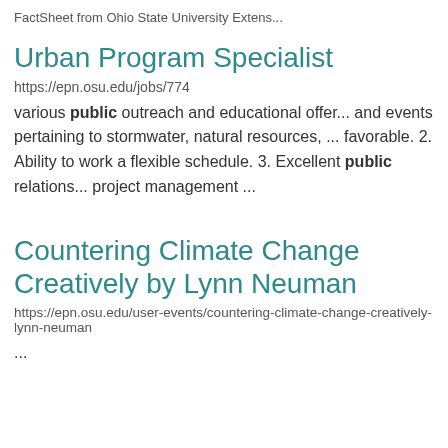FactSheet from Ohio State University Extens...
Urban Program Specialist
https://epn.osu.edu/jobs/774
various public outreach and educational offer... and events pertaining to stormwater, natural resources, ... favorable. 2. Ability to work a flexible schedule. 3. Excellent public relations... project management ...
Countering Climate Change Creatively by Lynn Neuman
https://epn.osu.edu/user-events/countering-climate-change-creatively-lynn-neuman
...